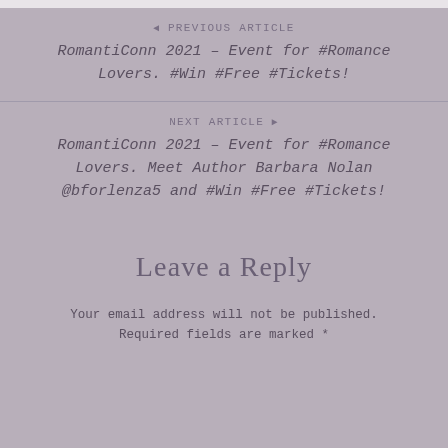PREVIOUS ARTICLE
RomantiConn 2021 – Event for #Romance Lovers. #Win #Free #Tickets!
NEXT ARTICLE
RomantiConn 2021 – Event for #Romance Lovers. Meet Author Barbara Nolan @bforlenza5 and #Win #Free #Tickets!
Leave a Reply
Your email address will not be published. Required fields are marked *